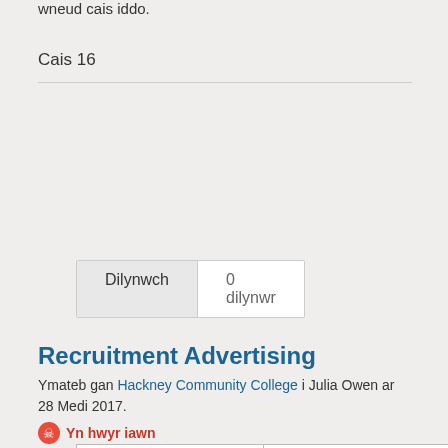wneud cais iddo.
Cais 16
[Figure (other): Follow widget showing 'Dilynwch' button and '0 dilynwr' count]
| pob cais | ceisiadau llwyddiannus |
| ceisiadau aflwyddiannus | ceisiadau heb eu datrys |
Recruitment Advertising
Ymateb gan Hackney Community College i Julia Owen ar 28 Medi 2017.
Yn hwyr iawn